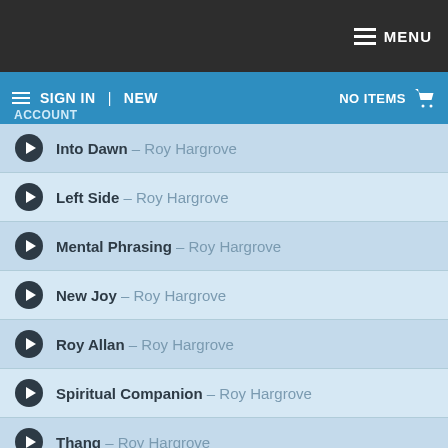MENU
SIGN IN | NEW  NO ITEMS
Into Dawn – Roy Hargrove
Left Side – Roy Hargrove
Mental Phrasing – Roy Hargrove
New Joy – Roy Hargrove
Roy Allan – Roy Hargrove
Spiritual Companion – Roy Hargrove
Thang – Roy Hargrove
Where Were You? – Roy Hargrove
LONNIE HILLYER
Soft Shoulder – Lonnie Hillyer